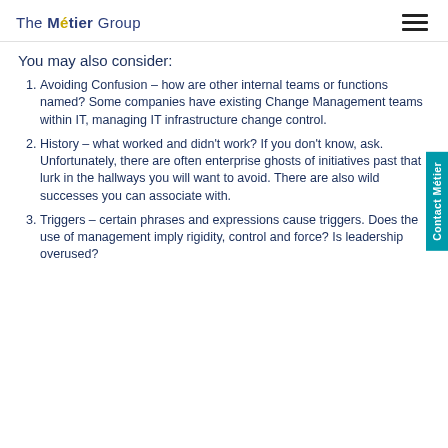The Métier Group
You may also consider:
Avoiding Confusion – how are other internal teams or functions named?  Some companies have existing Change Management teams within IT, managing IT infrastructure change control.
History – what worked and didn't work?  If you don't know, ask.  Unfortunately, there are often enterprise ghosts of initiatives past that lurk in the hallways you will want to avoid.  There are also wild successes you can associate with.
Triggers – certain phrases and expressions cause triggers.  Does the use of management imply rigidity, control and force?  Is leadership overused?